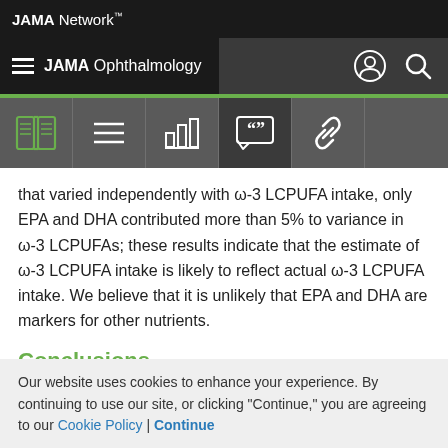JAMA Network
JAMA Ophthalmology
that varied independently with ω-3 LCPUFA intake, only EPA and DHA contributed more than 5% to variance in ω-3 LCPUFAs; these results indicate that the estimate of ω-3 LCPUFA intake is likely to reflect actual ω-3 LCPUFA intake. We believe that it is unlikely that EPA and DHA are markers for other nutrients.
Conclusions
Our website uses cookies to enhance your experience. By continuing to use our site, or clicking "Continue," you are agreeing to our Cookie Policy | Continue